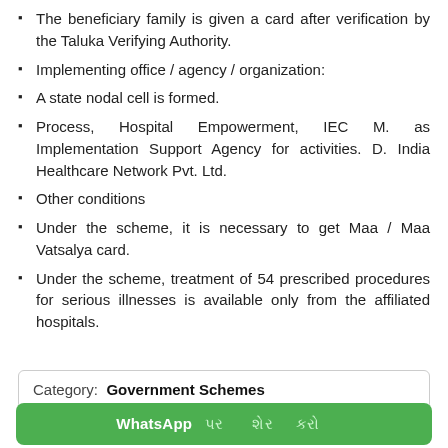The beneficiary family is given a card after verification by the Taluka Verifying Authority.
Implementing office / agency / organization:
A state nodal cell is formed.
Process, Hospital Empowerment, IEC M. as Implementation Support Agency for activities. D. India Healthcare Network Pvt. Ltd.
Other conditions
Under the scheme, it is necessary to get Maa / Maa Vatsalya card.
Under the scheme, treatment of 54 prescribed procedures for serious illnesses is available only from the affiliated hospitals.
Category: Government Schemes
WhatsApp પર શેર કરો